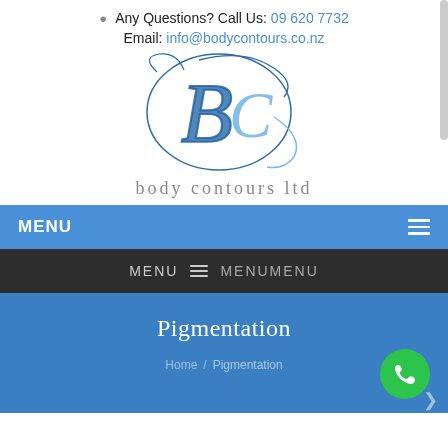Any Questions? Call Us: 09 620 7732
Email: info@bodycontours.co.nz
[Figure (logo): Body Contours Ltd logo — stylized BC monogram in blue cursive script with 'body contours ltd' text below]
MENU
MENU  MENUMENU
Pigmentation
Home / Pigmentation